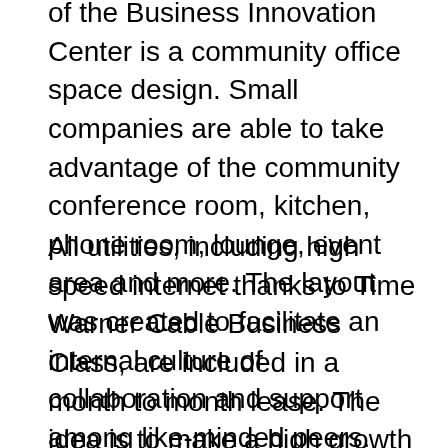of the Business Innovation Center is a community office space design. Small companies are able to take advantage of the community conference room, kitchen, phone room, lounge, event area and more. The layout was created to facilitate an internal culture of collaboration and support among like-minded peers.
All utilities, including high speed internet thanks to Time Warner Cable Business Class, are included in a month to month lease. The idea is to make a high growth work environment easily attainable for entrepreneurs and young startups that need a scalable solution for workspace. Entrepreneurs will be able to easily scale up within the Business Innovation Center and then eventually move out to a larger full office suite when they need to